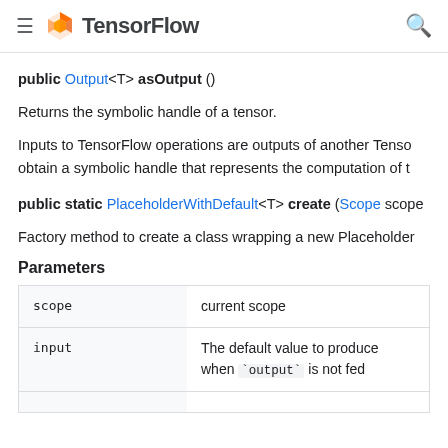TensorFlow
public Output<T> asOutput ()
Returns the symbolic handle of a tensor.
Inputs to TensorFlow operations are outputs of another TensorFlow operation. This method is used to obtain a symbolic handle that represents the computation of t
public static PlaceholderWithDefault<T> create (Scope scope
Factory method to create a class wrapping a new Placeholder
Parameters
|  |  |
| --- | --- |
| scope | current scope |
| input | The default value to produce when `output` is not fed |